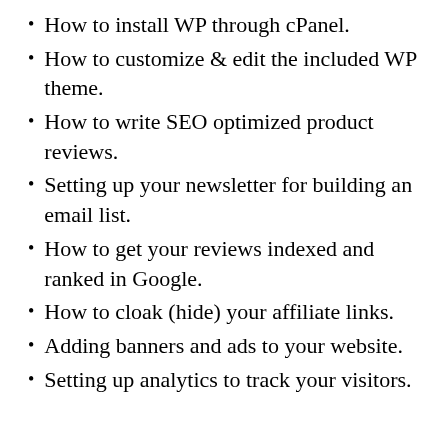How to install WP through cPanel.
How to customize & edit the included WP theme.
How to write SEO optimized product reviews.
Setting up your newsletter for building an email list.
How to get your reviews indexed and ranked in Google.
How to cloak (hide) your affiliate links.
Adding banners and ads to your website.
Setting up analytics to track your visitors.